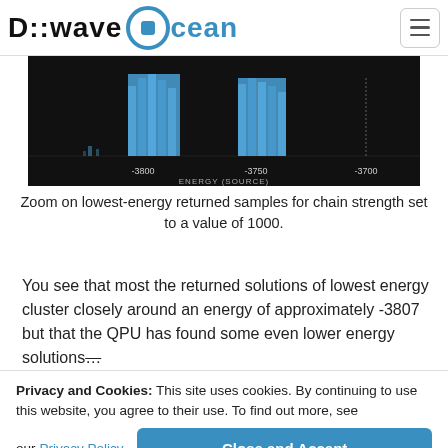D-Wave Ocean
[Figure (histogram): Zoom histogram of lowest-energy returned samples with energy (source) axis showing values around -3800, -3750, -3700. Two blue histogram columns visible on dark background.]
Zoom on lowest-energy returned samples for chain strength set to a value of 1000.
You see that most the returned solutions of lowest energy cluster closely around an energy of approximately -3807 but that the QPU has found some even lower energy solutions…
Privacy and Cookies: This site uses cookies. By continuing to use this website, you agree to their use. To find out more, see our Privacy Policy. Close and Accept